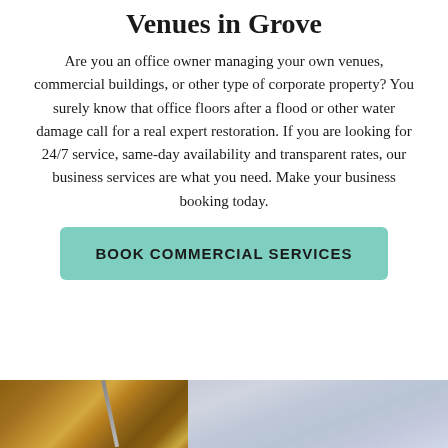Venues in Grove
Are you an office owner managing your own venues, commercial buildings, or other type of corporate property? You surely know that office floors after a flood or other water damage call for a real expert restoration. If you are looking for 24/7 service, same-day availability and transparent rates, our business services are what you need. Make your business booking today.
BOOK COMMERCIAL SERVICES
[Figure (photo): Photo showing interior of an office or commercial space with shelving/bookshelves on the left side and a lighter area on the right, partially visible at the bottom of the page]